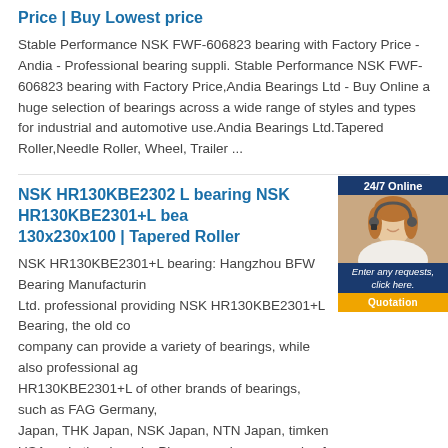Price | Buy Lowest price
Stable Performance NSK FWF-606823 bearing with Factory Price - Andia - Professional bearing suppli. Stable Performance NSK FWF-606823 bearing with Factory Price,Andia Bearings Ltd - Buy Online a huge selection of bearings across a wide range of styles and types for industrial and automotive use.Andia Bearings Ltd.Tapered Roller,Needle Roller, Wheel, Trailer ...
NSK HR130KBE2302 L bearing NSK HR130KBE2301+L bearing 130x230x100 | Tapered Roller
NSK HR130KBE2301+L bearing: Hangzhou BFW Bearing Manufacturing Ltd. professional providing NSK HR130KBE2301+L Bearing, the old company can provide a variety of bearings, while also professional agents HR130KBE2301+L of other brands of bearings, such as FAG Germany, Japan, THK Japan, NSK Japan, NTN Japan, timken USA and other brands, Please send your enquriy of bearing ...
NSK HR130KBE2302 L bearing Original NTN 33217U bearing - 85x150x49 Original
NTN 33217U bearing we sell is the original NTN bearing. We will provide the fast delivery and the best price. NTN 33217U bearing size: 85x150x49. Eric bearing limited company mainly supply high precision, high speed, low friction bearing 33217U NTN. In the past 12 years, 33217U NTN is widely used in many fields, such as mining machinery area, steel industires, construction